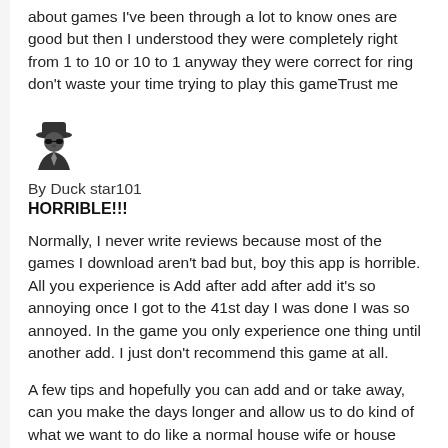about games I've been through a lot to know ones are good but then I understood they were completely right from 1 to 10 or 10 to 1 anyway they were correct for ring don't waste your time trying to play this gameTrust me
[Figure (illustration): User avatar icon showing a person in a hat and suit (spy/detective silhouette)]
By Duck star101
HORRIBLE!!!
Normally, I never write reviews because most of the games I download aren't bad but, boy this app is horrible. All you experience is Add after add after add it's so annoying once I got to the 41st day I was done I was so annoyed. In the game you only experience one thing until another add. I just don't recommend this game at all.
A few tips and hopefully you can add and or take away, can you make the days longer and allow us to do kind of what we want to do like a normal house wife or house dad? And can you remove those adds. Sure it's okay to have adds in the game but there is way to many especially when it's the same add over and over again and when you fail a day you have to watch a add again before retrying